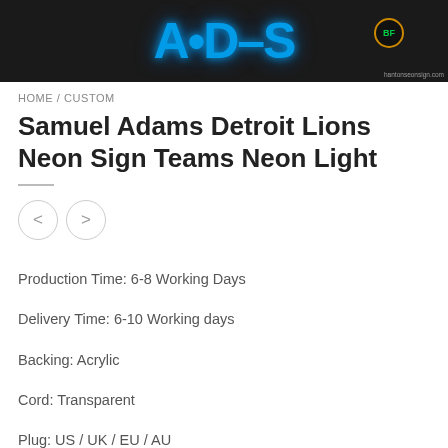[Figure (logo): Dark banner with blue neon-style stylized logo text, a BF badge circle on the right, and 'hantonseonsign.com' URL at bottom right]
HOME / CUSTOM
Samuel Adams Detroit Lions Neon Sign Teams Neon Light
Production Time: 6-8 Working Days
Delivery Time: 6-10 Working days
Backing: Acrylic
Cord: Transparent
Plug: US / UK / EU / AU
Power: 110V – 240V
Transformer: Include
On-Off: Yes
Warranty: 1 Year